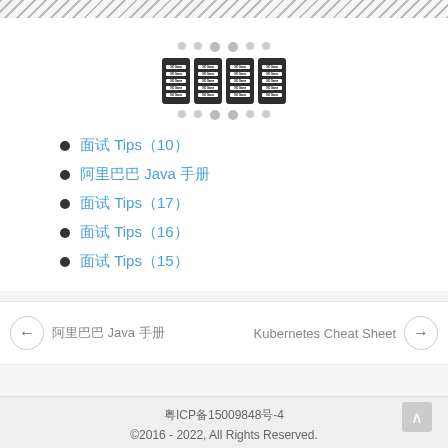[Figure (illustration): Hatched diagonal stripe border at top of page]
[Figure (illustration): Four server/rack unit icons arranged horizontally with dots above and below]
面试 Tips（10）
阿里巴巴 Java 手册
面试 Tips（17）
面试 Tips（16）
面试 Tips（15）
← 阿里巴巴 Java 手册   Kubernetes Cheat Sheet →
粤ICP备15009848号-4
©2016 - 2022, All Rights Reserved.